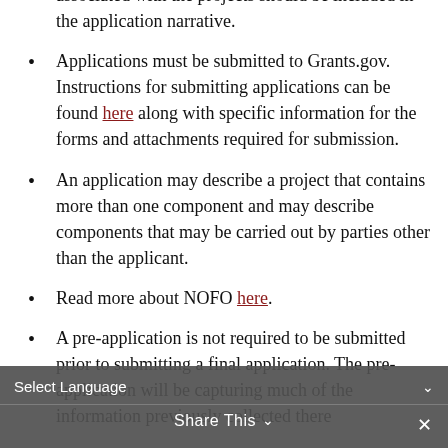associated with the projects should be included in the application narrative.
Applications must be submitted to Grants.gov. Instructions for submitting applications can be found here along with specific information for the forms and attachments required for submission.
An application may describe a project that contains more than one component and may describe components that may be carried out by parties other than the applicant.
Read more about NOFO here.
A pre-application is not required to be submitted prior to submitting a final application. The pre-application will be capturing much of the information previously collected there